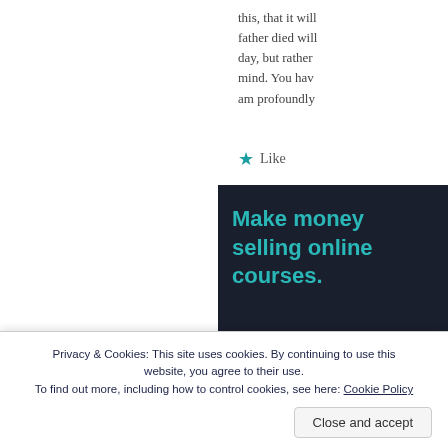this, that it will father died will day, but rather mind. You hav am profoundly
[Figure (screenshot): Like button with teal star icon]
[Figure (screenshot): Advertisement banner with dark background reading 'Make money selling online courses.' with Sensei logo]
Privacy & Cookies: This site uses cookies. By continuing to use this website, you agree to their use. To find out more, including how to control cookies, see here: Cookie Policy
Close and accept